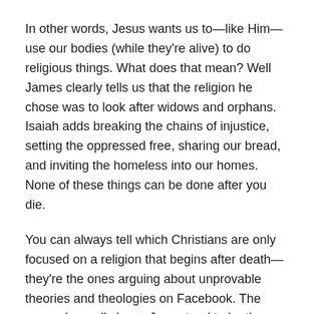In other words, Jesus wants us to—like Him—use our bodies (while they're alive) to do religious things. What does that mean? Well James clearly tells us that the religion he chose was to look after widows and orphans. Isaiah adds breaking the chains of injustice, setting the oppressed free, sharing our bread, and inviting the homeless into our homes. None of these things can be done after you die.
You can always tell which Christians are only focused on a religion that begins after death—they're the ones arguing about unprovable theories and theologies on Facebook. The ones who really know Jesus tend to be the ones hanging with the homeless, giving up their money and possessions, and fighting for justice (without posting about it…).